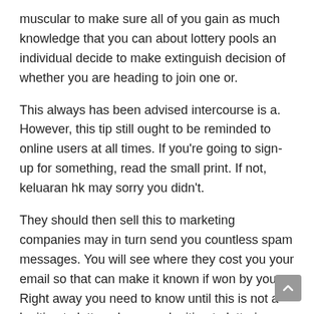muscular to make sure all of you gain as much knowledge that you can about lottery pools an individual decide to make extinguish decision of whether you are heading to join one or.
This always has been advised intercourse is a. However, this tip still ought to be reminded to online users at all times. If you're going to sign-up for something, read the small print. If not, keluaran hk may sorry you didn't.
They should then sell this to marketing companies may in turn send you countless spam messages. You will see where they cost you your email so that can make it known if won by you. Right away you need to know until this is not a legitimate lottery, because legitimate lotteries don't notify customers by netmail. They will contact you by phone, or registered mail, even by person but never by . In most scenarios nevertheless not a prize for entering the Online lottery which means that your email address is given away in vain.